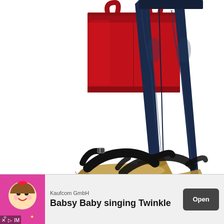[Figure (photo): Fashion collage showing a red leather tote bag (top left), a pair of dark wash skinny jeans (right side), and black wedge espadrille sandals (center bottom). Items are displayed on a white background as product cutouts.]
[Figure (infographic): Mobile advertisement banner for 'Babsy Baby singing Twinkle' app by Kaufcom GmbH, showing a cartoon baby graphic on the left, text in the center, and an 'Open' button on the right.]